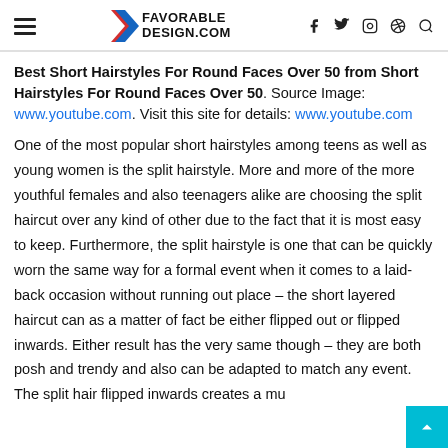FAVORABLE DESIGN.COM
Best Short Hairstyles For Round Faces Over 50 from Short Hairstyles For Round Faces Over 50. Source Image: www.youtube.com. Visit this site for details: www.youtube.com
One of the most popular short hairstyles among teens as well as young women is the split hairstyle. More and more of the more youthful females and also teenagers alike are choosing the split haircut over any kind of other due to the fact that it is most easy to keep. Furthermore, the split hairstyle is one that can be quickly worn the same way for a formal event when it comes to a laid-back occasion without running out place – the short layered haircut can as a matter of fact be either flipped out or flipped inwards. Either result has the very same though – they are both posh and trendy and also can be adapted to match any event. The split hair flipped inwards creates a much